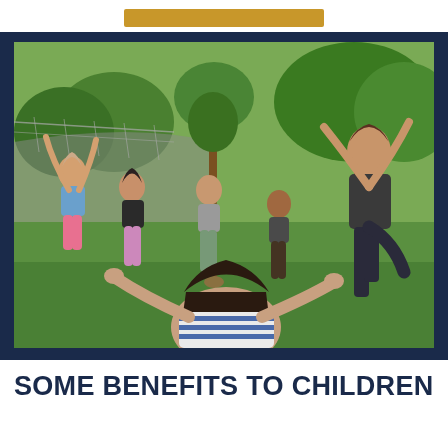[Figure (photo): Children and an adult woman playing outdoors on a green lawn. The adult woman on the right is jumping with one leg raised and arms up. Several children are also jumping and moving around on the grass. There are trees and a road visible in the background.]
SOME BENEFITS TO CHILDREN